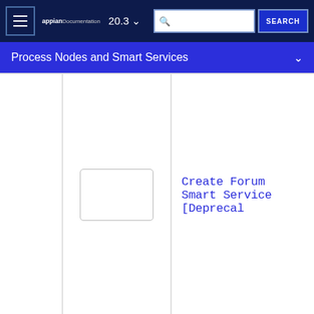appian Documentation  20.3  SEARCH
Process Nodes and Smart Services
[Figure (illustration): Rectangular image placeholder with rounded corners and gray border, representing a smart service icon]
Create Forum Smart Service [Deprecal